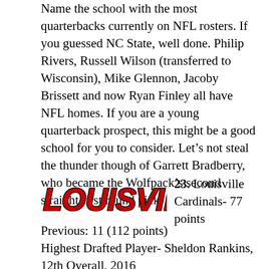Name the school with the most quarterbacks currently on NFL rosters. If you guessed NC State, well done. Philip Rivers, Russell Wilson (transferred to Wisconsin), Mike Glennon, Jacoby Brissett and now Ryan Finley all have NFL homes. If you are a young quarterback prospect, this might be a good school for you to consider. Let's not steal the thunder though of Garrett Bradberry, who became the Wolfpack's second straight first round pick.
[Figure (logo): Louisville Cardinals athletic logo text in red with black outline/shadow, italic bold stylized font]
23. Louisville Cardinals- 77 points
Previous: 11 (112 points)
Highest Drafted Player- Sheldon Rankins, 12th Overall, 2016